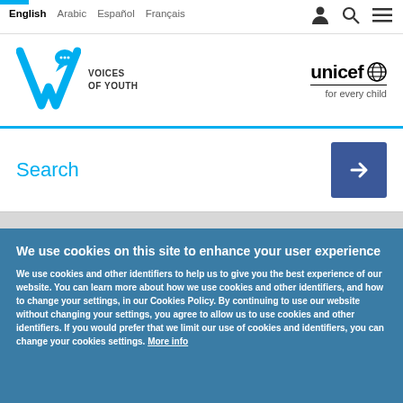English  Arabic  Español  Français
[Figure (logo): Voices of Youth logo with cyan V checkmark and speech bubble icon, UNICEF for every child logo on right]
Search
We use cookies on this site to enhance your user experience
We use cookies and other identifiers to help us to give you the best experience of our website. You can learn more about how we use cookies and other identifiers, and how to change your settings, in our Cookies Policy. By continuing to use our website without changing your settings, you agree to allow us to use cookies and other identifiers. If you would prefer that we limit our use of cookies and identifiers, you can change your cookies settings. More info